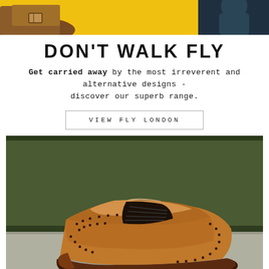[Figure (photo): Top banner showing brown leather boots on yellow background with dark figure on right side]
DON'T WALK FLY
Get carried away by the most irreverent and alternative designs - discover our superb range.
VIEW FLY LONDON
[Figure (photo): A tan/cognac leather Oxford brogue shoe photographed against a dark olive green background, placed on a grey stone surface]